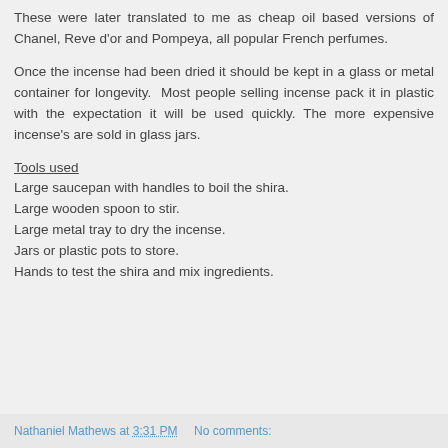These were later translated to me as cheap oil based versions of Chanel, Reve d'or and Pompeya, all popular French perfumes.
Once the incense had been dried it should be kept in a glass or metal container for longevity.  Most people selling incense pack it in plastic with the expectation it will be used quickly.  The more expensive incense's are sold in glass jars.
Tools used
Large saucepan with handles to boil the shira.
Large wooden spoon to stir.
Large metal tray to dry the incense.
Jars or plastic pots to store.
Hands to test the shira and mix ingredients.
Nathaniel Mathews at 3:31 PM    No comments: